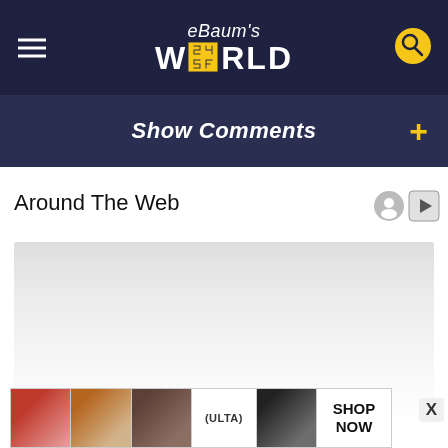eBaum's WORLD
Show Comments
Around The Web
[Figure (illustration): Blank/loading ad content area with light gray gradient background]
[Figure (photo): ULTA beauty advertisement strip showing makeup images (lips, brush, eye, ULTA logo, eye closeup) with SHOP NOW text]